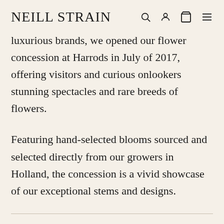NEILL STRAIN
luxurious brands, we opened our flower concession at Harrods in July of 2017, offering visitors and curious onlookers stunning spectacles and rare breeds of flowers.
Featuring hand-selected blooms sourced and selected directly from our growers in Holland, the concession is a vivid showcase of our exceptional stems and designs.
Our Harrods concession features new floral varieties and